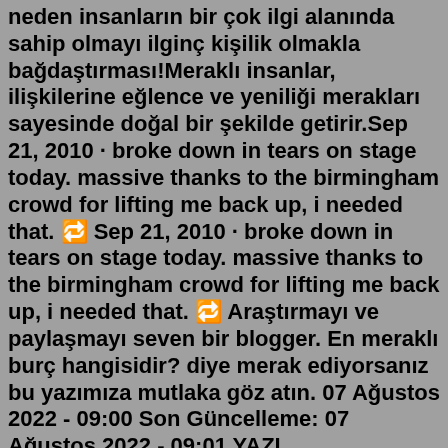neden insanların bir çok ilgi alanında sahip olmayı ilginç kişilik olmakla bağdaştırması!Meraklı insanlar, ilişkilerine eğlence ve yeniliği merakları sayesinde doğal bir şekilde getirir.Sep 21, 2010 · broke down in tears on stage today. massive thanks to the birmingham crowd for lifting me back up, i needed that. 🔁 Sep 21, 2010 · broke down in tears on stage today. massive thanks to the birmingham crowd for lifting me back up, i needed that. 🔁 Araştırmayı ve paylaşmayı seven bir blogger. En meraklı burç hangisidir? diye merak ediyorsanız bu yazımıza mutlaka göz atın. 07 Ağustos 2022 - 09:00 Son Güncelleme: 07 Ağustos 2022 - 09:01 YAZI BOYUTUKomik🙂 Bilim ve Teknik ve Meraklı Minik dergileri her ayın 1'inde, Bilim Çocuk dergisi her ayın 15'inde yayımlanır ve aynı gün kargoyla abonelerimize gönderilir. Abonelik, ilgili dergiye abone olunan tarihten itibaren bir sonraki sayı ile başlar.pek meraklı olmamak. not go nap on [australia] f. 92. Deyim. bir şeyi yapmaya çok meraklı/istekli olmak. be falling over yourself to do